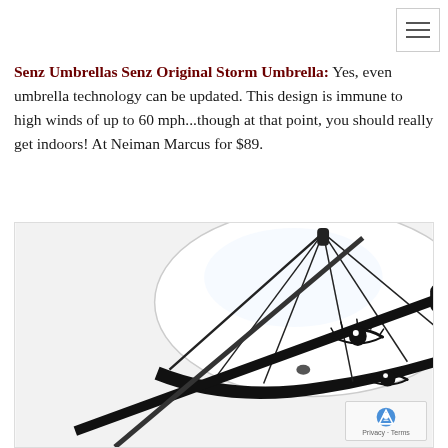Senz Umbrellas Senz Original Storm Umbrella: Yes, even umbrella technology can be updated. This design is immune to high winds of up to 60 mph...though at that point, you should really get indoors! At Neiman Marcus for $89.
[Figure (photo): A clear dome-shaped storm umbrella (Senz Original Storm Umbrella) photographed from below at an angle, showing its transparent canopy, black frame ribs, and a decorative eye illustration printed on the canopy. The handle is black.]